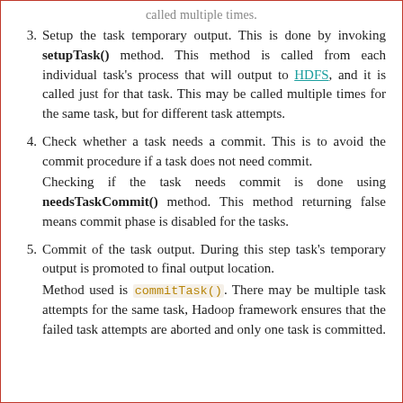called multiple times.
3. Setup the task temporary output. This is done by invoking setupTask() method. This method is called from each individual task's process that will output to HDFS, and it is called just for that task. This may be called multiple times for the same task, but for different task attempts.
4. Check whether a task needs a commit. This is to avoid the commit procedure if a task does not need commit. Checking if the task needs commit is done using needsTaskCommit() method. This method returning false means commit phase is disabled for the tasks.
5. Commit of the task output. During this step task's temporary output is promoted to final output location. Method used is commitTask(). There may be multiple task attempts for the same task, Hadoop framework ensures that the failed task attempts are aborted and only one task is committed.